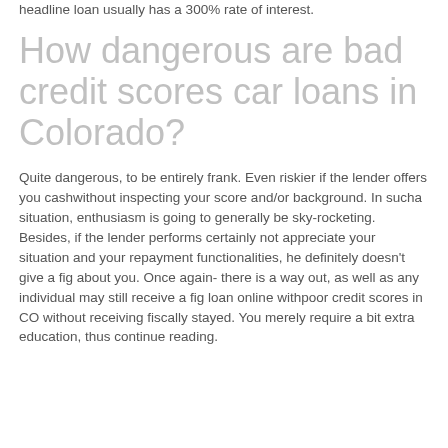headline loan usually has a 300% rate of interest.
How dangerous are bad credit scores car loans in Colorado?
Quite dangerous, to be entirely frank. Even riskier if the lender offers you cashwithout inspecting your score and/or background. In sucha situation, enthusiasm is going to generally be sky-rocketing. Besides, if the lender performs certainly not appreciate your situation and your repayment functionalities, he definitely doesn't give a fig about you. Once again- there is a way out, as well as any individual may still receive a fig loan online withpoor credit scores in CO without receiving fiscally stayed. You merely require a bit extra education, thus continue reading.